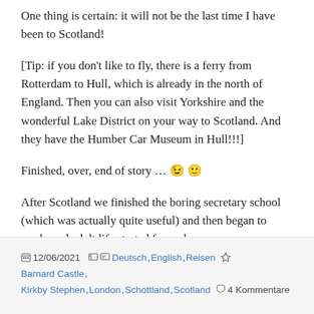One thing is certain: it will not be the last time I have been to Scotland!
[Tip: if you don't like to fly, there is a ferry from Rotterdam to Hull, which is already in the north of England. Then you can also visit Yorkshire and the wonderful Lake District on your way to Scotland. And they have the Humber Car Museum in Hull!!!]
Finished, over, end of story … 😉 🙂
After Scotland we finished the boring secretary school (which was actually quite useful) and then began to work, and adult life started for real.
12/06/2021  Deutsch, English, Reisen  Barnard Castle, Kirkby Stephen, London, Schottland, Scotland  4 Kommentare